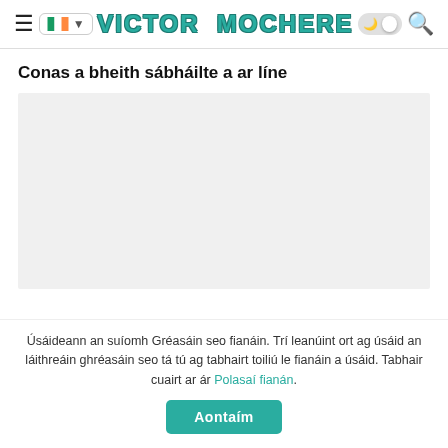VICTOR MOCHERE
Conas a bheith sábháilte a ar líne
[Figure (other): Light gray rectangular placeholder image area]
Úsáideann an suíomh Gréasáin seo fianáin. Trí leanúint ort ag úsáid an láithreáin ghréasáin seo tá tú ag tabhairt toiliú le fianáin a úsáid. Tabhair cuairt ar ár Polasaí fianán.